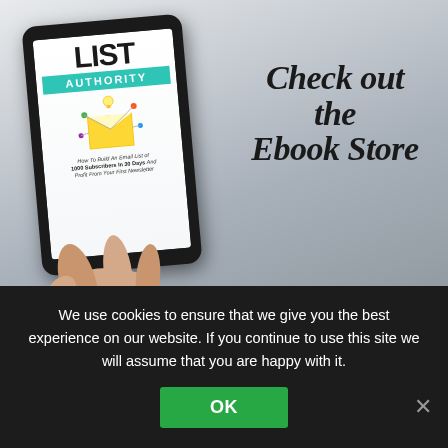[Figure (photo): A person holding a tablet/iPad displaying an ebook cover titled 'LIST AUTHORITY - How To Build An Email List of 1000 Subscribers In 30 Days And Profit From Your First Newsletter'. Next to the tablet on a gray surface reads 'Check Out The Ebook Store' in large italic serif text.]
We use cookies to ensure that we give you the best experience on our website. If you continue to use this site we will assume that you are happy with it.
OK